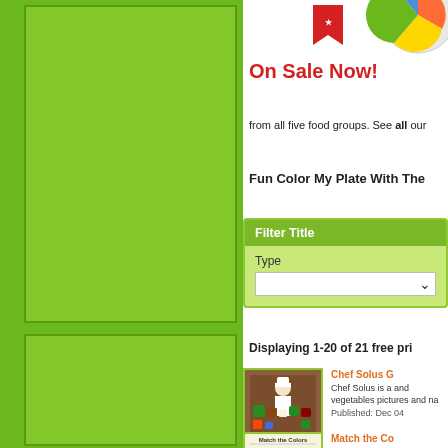[Figure (illustration): Green sidebar with two green advertisement blocks]
[Figure (illustration): On Sale Now! banner with plate graphic at top right]
from all five food groups. See all our
Fun Color My Plate With The
Filter Title
Type
Displaying 1-20 of 21 free pri
[Figure (illustration): Chef Solus game thumbnail showing chef with fruits and vegetables]
Chef Solus G
Chef Solus is a and vegetables pictures and na
Published: Dec 04
[Figure (illustration): Match the Colors worksheet thumbnail with fruits and vegetables]
Match the Co
Match the color
Published: Jul 07